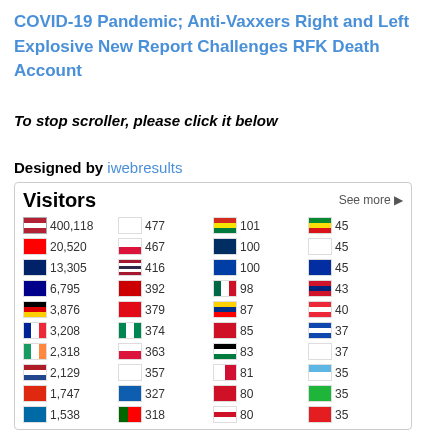COVID-19 Pandemic; Anti-Vaxxers Right and Left Explosive New Report Challenges RFK Death Account
To stop scroller, please click it below
Designed by iwebresults
| Flag | Count | Flag | Count | Flag | Count | Flag | Count |
| --- | --- | --- | --- | --- | --- | --- | --- |
| US | 400,118 | KR | 477 | BO | 101 | ET | 45 |
| CA | 20,520 | PL | 467 | DO | 100 | CY | 45 |
| GB | 13,305 | TH | 416 | SI | 100 | KH | 45 |
| AU | 6,795 | MY | 392 | MX | 98 | VE | 43 |
| DE | 3,876 | TR | 379 | EC | 87 | AT | 40 |
| FR | 3,208 | NG | 374 | BH | 85 | SV | 37 |
| IE | 2,318 | PL | 363 | IQ | 83 | GE | 37 |
| NL | 2,129 | IL | 357 | PAN | 81 | SM | 35 |
| CN | 1,747 | GR | 327 | TT | 80 | TZ | 35 |
| SE | 1,538 | PT | 318 | LB | 80 | AL | 35 |